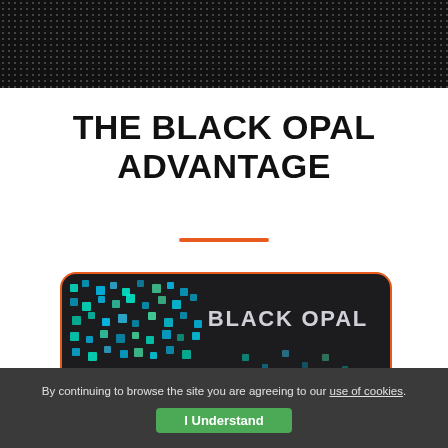[Figure (other): Dark dotted header band background]
THE BLACK OPAL ADVANTAGE
[Figure (illustration): Black Opal credit card with teal/blue pixel dot pattern, EMV chip, and 'BLACK OPAL' brand text in silver. Card has orange border.]
By continuing to browse the site you are agreeing to our use of cookies. I Understand